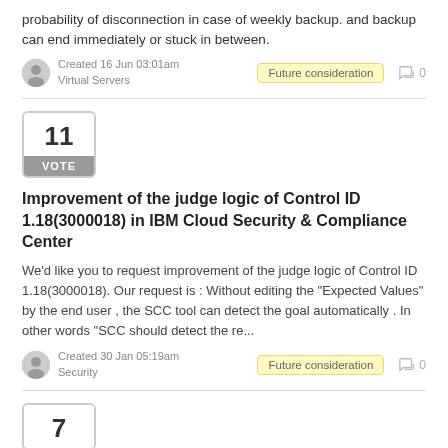probability of disconnection in case of weekly backup. and backup can end immediately or stuck in between.
Created 16 Jun 03:01am  Virtual Servers
Future consideration  0
11 VOTE
Improvement of the judge logic of Control ID 1.18(3000018) in IBM Cloud Security & Compliance Center
We'd like you to request improvement of the judge logic of Control ID 1.18(3000018). Our request is : Without editing the "Expected Values" by the end user , the SCC tool can detect the goal automatically . In other words "SCC should detect the re...
Created 30 Jan 05:19am  Security
Future consideration  0
7 VOTE